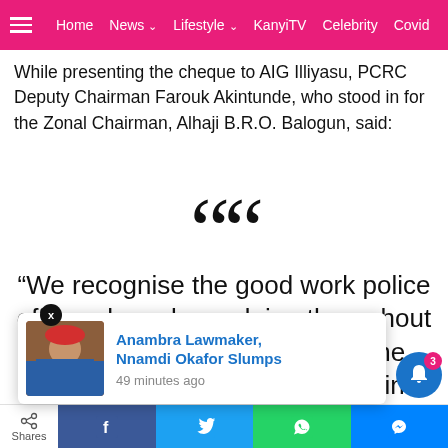Home  News  Lifestyle  KanyiTV  Celebrity  Covid
While presenting the cheque to AIG Illiyasu, PCRC Deputy Chairman Farouk Akintunde, who stood in for the Zonal Chairman, Alhaji B.R.O. Balogun, said:
“We recognise the good work police officers have been doing throughout the nation. We are aware of the recent event, sometimes ago in Kano, when [partially obscured] ll by
[Figure (screenshot): Popup notification showing image of Anambra Lawmaker and text: Anambra Lawmaker, Nnamdi Okafor Slumps - 49 minutes ago]
Shares | Facebook | Twitter | WhatsApp | Messenger